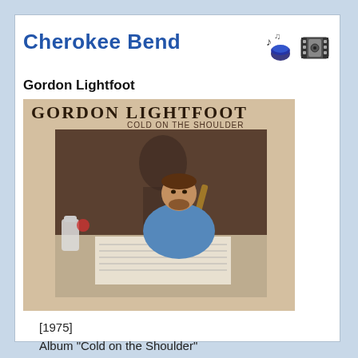Cherokee Bend
Gordon Lightfoot
[Figure (photo): Album cover for Gordon Lightfoot - Cold on the Shoulder (1975). Shows Gordon Lightfoot playing guitar at a table with a woman visible in the background. Text on cover reads GORDON LIGHTFOOT and COLD ON THE SHOULDER.]
[1975]
Album "Cold on the Shoulder"